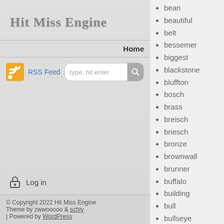Hit Miss Engine
Home
[Figure (screenshot): RSS feed icon (orange/yellow Wi-Fi style icon) and RSS Feed link with a search box saying 'type, hit enter' and a search button]
Log in
© Copyright 2022 Hit Miss Engine
Theme by zwwooooo & schiy
| Powered by WordPress
bean
beautiful
belt
bessemer
biggest
blackstone
bluffton
bosch
brass
breisch
briesch
bronze
brownwall
brunner
buffalo
building
bull
bullseye
butter
buzz
c1900s